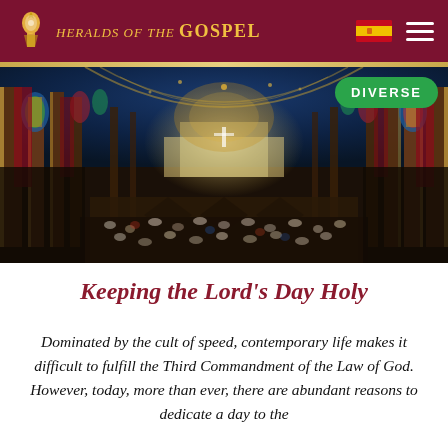Heralds of the Gospel
[Figure (photo): Interior of an ornate Gothic cathedral filled with worshippers, colorful arched windows and decorated columns, viewed from above the congregation toward the illuminated altar.]
Keeping the Lord’s Day Holy
Dominated by the cult of speed, contemporary life makes it difficult to fulfill the Third Commandment of the Law of God. However, today, more than ever, there are abundant reasons to dedicate a day to the